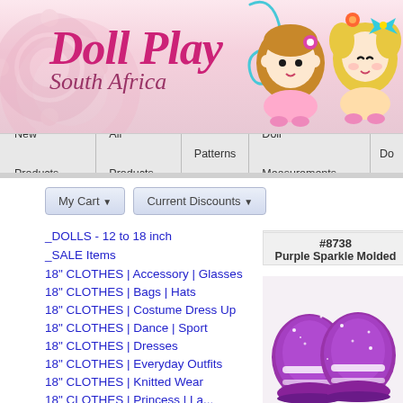[Figure (logo): Doll Play South Africa logo with decorative doll illustrations and floral swirl on pink background]
New Products | All Products | Patterns | Doll Measurements | Do...
My Cart ▾   Current Discounts ▾
_DOLLS - 12 to 18 inch
_SALE Items
18" CLOTHES | Accessory | Glasses
18" CLOTHES | Bags | Hats
18" CLOTHES | Costume Dress Up
18" CLOTHES | Dance | Sport
18" CLOTHES | Dresses
18" CLOTHES | Everyday Outfits
18" CLOTHES | Knitted Wear
18" CLOTHES | Princess | La...
#8738
Purple Sparkle Molded
[Figure (photo): Purple sparkle molded doll shoes/boots, glittery purple color]